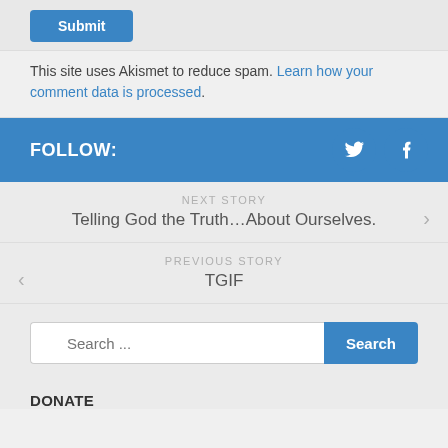[Figure (screenshot): Top section stub showing a blue submit button on grey background]
This site uses Akismet to reduce spam. Learn how your comment data is processed.
FOLLOW:
NEXT STORY
Telling God the Truth…About Ourselves.
PREVIOUS STORY
TGIF
Search ...
DONATE